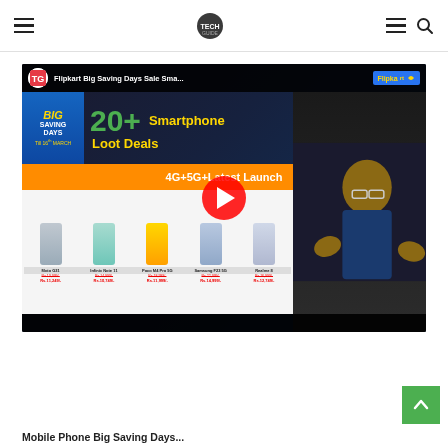Tech Guide website header with hamburger menu, logo, hamburger menu and search icon
[Figure (screenshot): YouTube video thumbnail for 'Flipkart Big Saving Days Sale Smartphone Loot Deals 20+ 4G+5G+Latest Launch' by Tech Guide channel showing phones: Moto G31, Infinix Note 11, Poco M4 Pro 5G, Samsung F23 5G, Realme 8 with discounted prices and a person on the right side]
Mobile Phone Big Saving Days